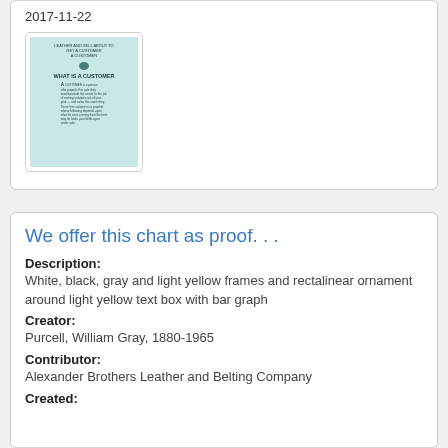2017-11-22
[Figure (illustration): Thumbnail image of a document with light blue/teal background showing 'WHAT IS A CUSTOMER' title with body text below, and a small circular logo above the title.]
We offer this chart as proof. . .
Description:
White, black, gray and light yellow frames and rectalinear ornament around light yellow text box with bar graph
Creator:
Purcell, William Gray, 1880-1965
Contributor:
Alexander Brothers Leather and Belting Company
Created: